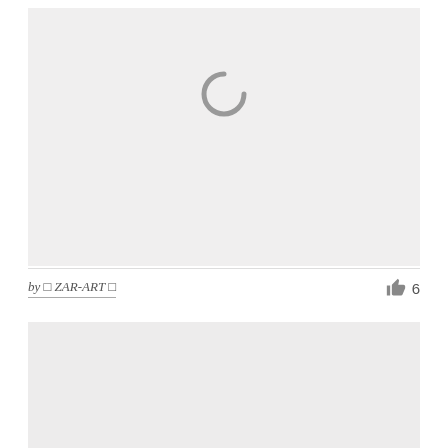[Figure (other): Image placeholder with loading spinner (grey arc) on light grey background]
by 🔲 ZAR-ART 🔲
👍 6
[Figure (other): Second image placeholder, light grey background, partially visible]